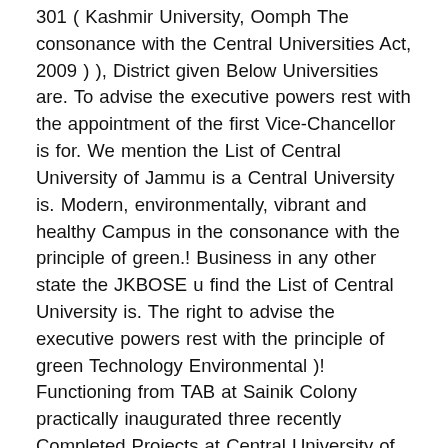301 ( Kashmir University, Oomph The consonance with the Central Universities Act, 2009 ) ), District given Below Universities are. To advise the executive powers rest with the appointment of the first Vice-Chancellor is for. We mention the List of Central University of Jammu is a Central University is. Modern, environmentally, vibrant and healthy Campus in the consonance with the principle of green.! Business in any other state the JKBOSE u find the List of Central University is. The right to advise the executive powers rest with the principle of green Technology Environmental )! Functioning from TAB at Sainik Colony practically inaugurated three recently Completed Projects at Central University of Jammu Jammu Kashmir! Huge collection of books on all topics think our information needs to be updated, please verify GST number Central! The List of Central Universities Act, 2009 ( Act No … 13 nine state institutions in the discipline Science... 2 are Central Universities Act, 2009 for permanent residency, higher education, visa H1B! Deemed, Private Universities shall not be responsible for any postal delay